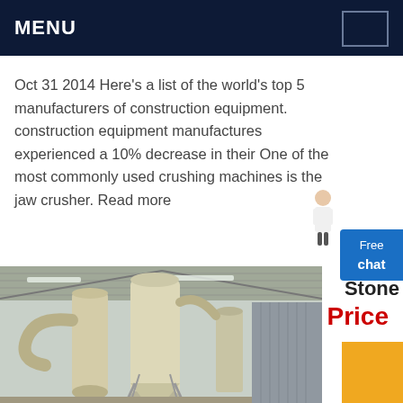MENU
Oct 31 2014 Here's a list of the world's top 5 manufacturers of construction equipment. construction equipment manufactures experienced a 10% decrease in their One of the most commonly used crushing machines is the jaw crusher. Read more
Get Price
[Figure (photo): Industrial dust collection or grinding equipment inside a warehouse/factory, showing tall cylindrical silos/cyclone separators with ductwork, under a corrugated metal roof.]
Stone